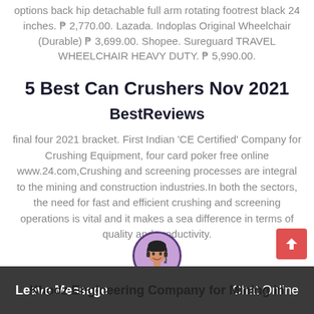options back hip detachable full arm rotating footrest black 24 inches. ₱ 2,770.00. Lazada. Indoplas Original Wheelchair (Durable) ₱ 3,699.00. Shopee. Sureguard TRAVEL WHEELCHAIR HEAVY DUTY. ₱ 5,990.00.
5 Best Can Crushers Nov 2021
BestReviews
final four 2021 bracket. First Indian 'CE Certified' Company for Crushing Equipment, four card poker free online www.24.com,Crushing and screening processes are integral to the mining and construction industries.In both the sectors, the need for fast and efficient crushing and screening operations is vital and it makes a sea difference in terms of quality and productivity.
Leave Message   Chat Online   Khodz Engineering Company for Mining in